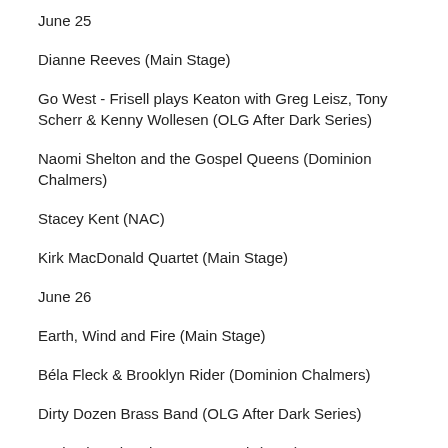June 25
Dianne Reeves (Main Stage)
Go West - Frisell plays Keaton with Greg Leisz, Tony Scherr & Kenny Wollesen (OLG After Dark Series)
Naomi Shelton and the Gospel Queens (Dominion Chalmers)
Stacey Kent (NAC)
Kirk MacDonald Quartet (Main Stage)
June 26
Earth, Wind and Fire (Main Stage)
Béla Fleck & Brooklyn Rider (Dominion Chalmers)
Dirty Dozen Brass Band (OLG After Dark Series)
Rudresh Mahanthappa's Gamak (NAC)
Myriad3 (Main Stage)
June 27